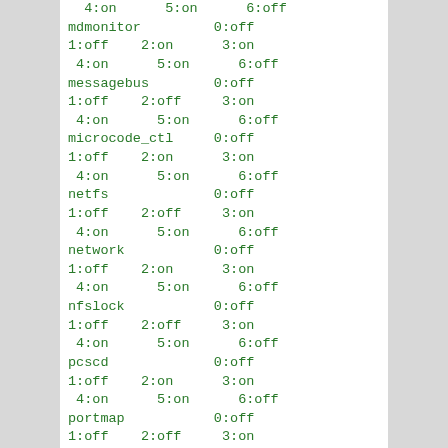4:on      5:on      6:off
mdmonitor         0:off
1:off    2:on      3:on
 4:on      5:on      6:off
messagebus        0:off
1:off    2:off     3:on
 4:on      5:on      6:off
microcode_ctl     0:off
1:off    2:on      3:on
 4:on      5:on      6:off
netfs             0:off
1:off    2:off     3:on
 4:on      5:on      6:off
network           0:off
1:off    2:on      3:on
 4:on      5:on      6:off
nfslock           0:off
1:off    2:off     3:on
 4:on      5:on      6:off
pcscd             0:off
1:off    2:on      3:on
 4:on      5:on      6:off
portmap           0:off
1:off    2:off     3:on
 4:on      5:on      6:off
rawdevices        0:off
1:off    2:off     3:on
 4:on      5:on      6:off
readahead_early 0:off